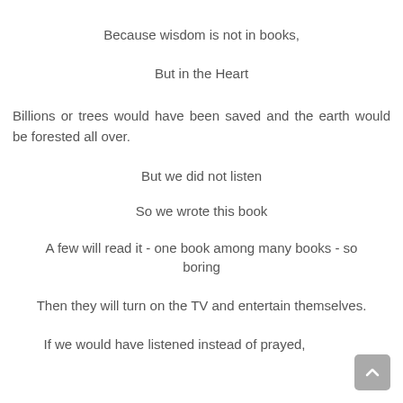Because wisdom is not in books,
But in the Heart
Billions or trees would have been saved and the earth would be forested all over.
But we did not listen
So we wrote this book
A few will read it - one book among many books - so boring
Then they will turn on the TV and entertain themselves.
If we would have listened instead of prayed,